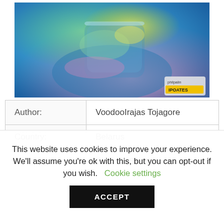[Figure (photo): A colorful abstract close-up photo of what appears to be a glass object with blue, pink, green, and yellow reflections. A small 'philpalin IPOATES' watermark logo is visible in the bottom right corner of the image.]
| Author: | VoodooIrajas Tojagore |
| Country: | Belarus |
| Language: | English (Spanish) |
This website uses cookies to improve your experience. We'll assume you're ok with this, but you can opt-out if you wish.  Cookie settings
ACCEPT